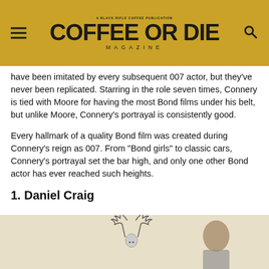COFFEE OR DIE MAGAZINE
have been imitated by every subsequent 007 actor, but they've never been replicated. Starring in the role seven times, Connery is tied with Moore for having the most Bond films under his belt, but unlike Moore, Connery's portrayal is consistently good.
Every hallmark of a quality Bond film was created during Connery's reign as 007. From “Bond girls” to classic cars, Connery's portrayal set the bar high, and only one other Bond actor has ever reached such heights.
1. Daniel Craig
[Figure (photo): Partial photo of Daniel Craig with a deer/stag illustration overlay, on a beige background]